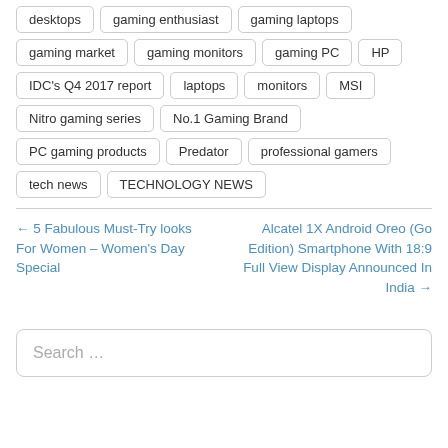desktops
gaming enthusiast
gaming laptops
gaming market
gaming monitors
gaming PC
HP
IDC's Q4 2017 report
laptops
monitors
MSI
Nitro gaming series
No.1 Gaming Brand
PC gaming products
Predator
professional gamers
tech news
TECHNOLOGY NEWS
← 5 Fabulous Must-Try looks For Women – Women's Day Special
Alcatel 1X Android Oreo (Go Edition) Smartphone With 18:9 Full View Display Announced In India →
Search …